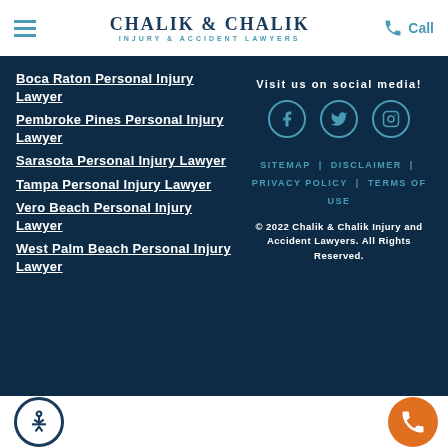CHALIK & CHALIK INJURY & ACCIDENT LAWYERS
Boca Raton Personal Injury Lawyer
Pembroke Pines Personal Injury Lawyer
Sarasota Personal Injury Lawyer
Tampa Personal Injury Lawyer
Vero Beach Personal Injury Lawyer
West Palm Beach Personal Injury Lawyer
Visit us on social media!
SITEMAP | DISCLAIMER | PRIVACY POLICY | TERMS OF USE
© 2022 Chalik & Chalik Injury and Accident Lawyers. All Rights Reserved.